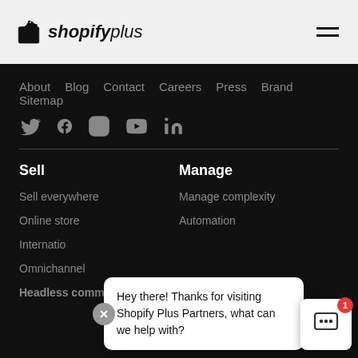[Figure (logo): Shopify Plus logo with shopping bag icon and wordmark]
[Figure (other): Hamburger menu icon (two horizontal bars)]
About  Blog  Contact  Careers  Press  Brand  Sitemap
[Figure (other): Social media icons: Twitter, Facebook, Instagram, YouTube, LinkedIn]
Sell
Manage
Sell everywhere
Manage complexity
Online store
Automation
International
Omnichannel
Headless commerce
[Figure (other): Chat popup bubble with text: Hey there! Thanks for visiting Shopify Plus Partners, what can we help with?]